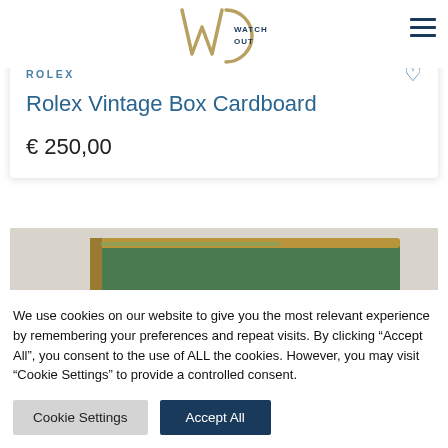[Figure (logo): Watch Out logo — stylized WO initials in gold/tan with a circular arc, with 'WATCH OUT' text in dark blue]
ROLEX
Rolex Vintage Box Cardboard
€ 250,00
[Figure (photo): Partial photo of a vintage Rolex green box with gold trim, seen from an angle against a light background]
We use cookies on our website to give you the most relevant experience by remembering your preferences and repeat visits. By clicking "Accept All", you consent to the use of ALL the cookies. However, you may visit "Cookie Settings" to provide a controlled consent.
Cookie Settings
Accept All